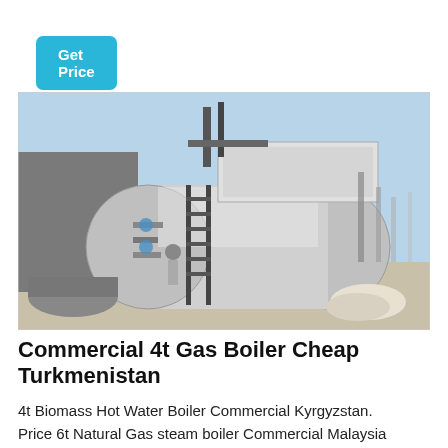Get Price
[Figure (photo): Industrial gas boiler installation outdoors. A large horizontal cylindrical stainless steel boiler with piping, control box on top, and a worker visible on the access platform. Multiple exhaust stacks visible in the background. Clear blue sky.]
Commercial 4t Gas Boiler Cheap Turkmenistan
4t Biomass Hot Water Boiler Commercial Kyrgyzstan. Price 6t Natural Gas steam boiler Commercial Malaysia